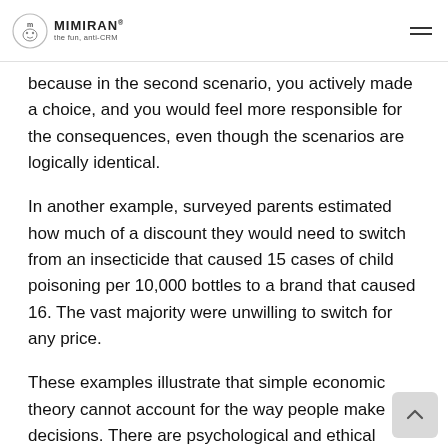MIMIRAN® the fun, anti-CRM
because in the second scenario, you actively made a choice, and you would feel more responsible for the consequences, even though the scenarios are logically identical.
In another example, surveyed parents estimated how much of a discount they would need to switch from an insecticide that caused 15 cases of child poisoning per 10,000 bottles to a brand that caused 16. The vast majority were unwilling to switch for any price.
These examples illustrate that simple economic theory cannot account for the way people make decisions. There are psychological and ethical components, as well. We care not just about the end results, but how and why we got there.